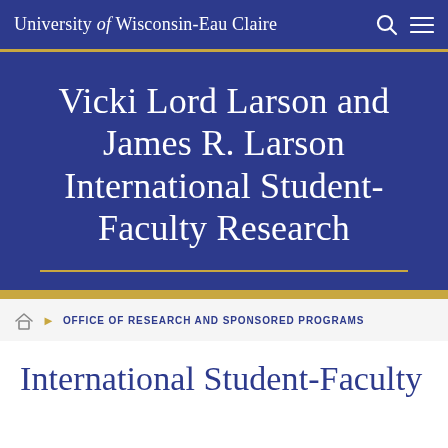University of Wisconsin-Eau Claire
Vicki Lord Larson and James R. Larson International Student-Faculty Research
OFFICE OF RESEARCH AND SPONSORED PROGRAMS
International Student-Faculty